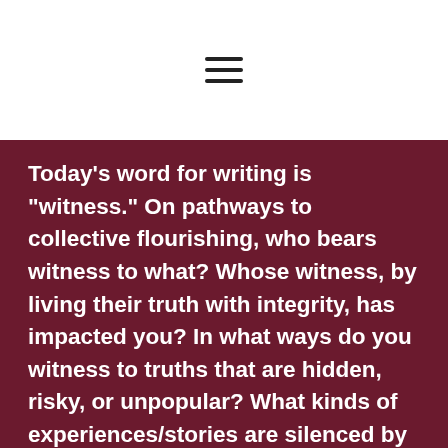≡
Today's word for writing is "witness." On pathways to collective flourishing, who bears witness to what? Whose witness, by living their truth with integrity, has impacted you? In what ways do you witness to truths that are hidden, risky, or unpopular? What kinds of experiences/stories are silenced by power and dominance? What are the common consequences, positive and negative, of bearing witness to that which power tries to suppress? What kind of witness is needed most right now? (In the world, your